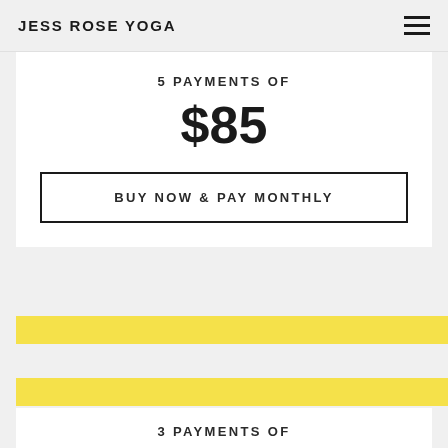JESS ROSE YOGA
5 PAYMENTS OF
$85
BUY NOW & PAY MONTHLY
3 PAYMENTS OF
$135